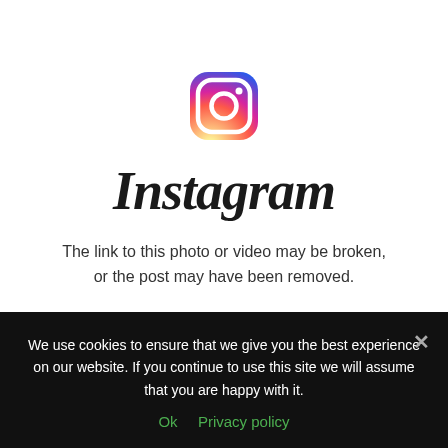[Figure (logo): Instagram logo icon — rounded square with gradient (yellow to pink to purple) outline, camera lens circle and dot in the top-right]
Instagram
The link to this photo or video may be broken, or the post may have been removed.
We use cookies to ensure that we give you the best experience on our website. If you continue to use this site we will assume that you are happy with it.
Ok   Privacy policy